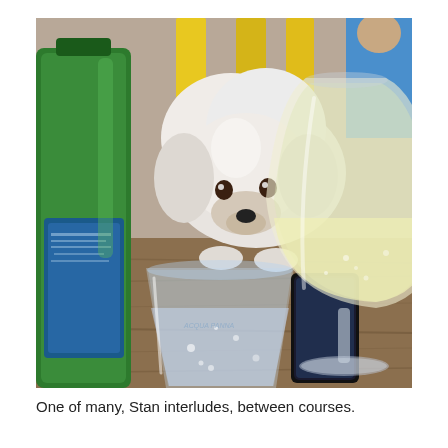[Figure (photo): A fluffy white small dog peering over a restaurant table between a green glass water bottle (Acqua Panna), a clear tumbler glass of sparkling water, and a wine glass filled with white wine/champagne. A smartphone is visible on the wooden table in the background. Yellow metal chairs are visible in the background along with another person in a blue shirt.]
One of many, Stan interludes, between courses.